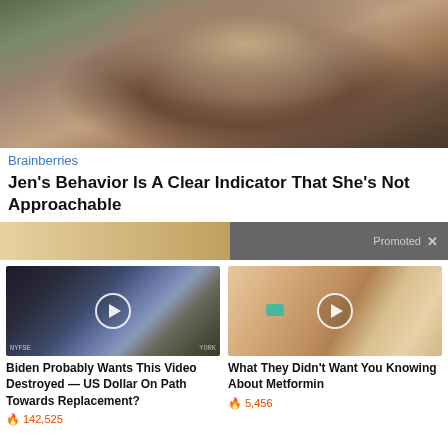[Figure (photo): Woman with long brown hair wearing a grey ribbed sweater, sitting on a couch with hand near her head, appearing to be on a talk show set]
Brainberries
Jen's Behavior Is A Clear Indicator That She's Not Approachable
[Figure (photo): Promoted content strip showing partial images - a blonde woman on the left and a dark background on the right, with a Promoted label and X close button]
[Figure (photo): Video thumbnail showing a man in a dark suit at what appears to be a financial news set (NYSE visible), with a play button overlay]
Biden Probably Wants This Video Destroyed — US Dollar On Path Towards Replacement?
🔥 142,525
[Figure (photo): Video thumbnail showing a close-up of an open mouth with a tongue out and a teal/blue pill on the tongue, with a play button overlay]
What They Didn't Want You Knowing About Metformin
🔥 5,456